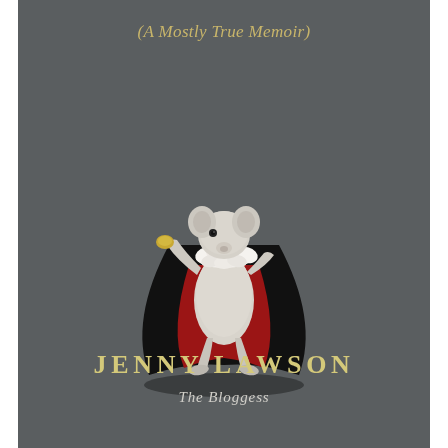(A Mostly True Memoir)
[Figure (photo): A taxidermied white mouse wearing a white ruffled collar and a black and red velvet cape, posed upright in a theatrical stance holding a small golden object, photographed against a dark grey background.]
JENNY LAWSON
The Bloggess